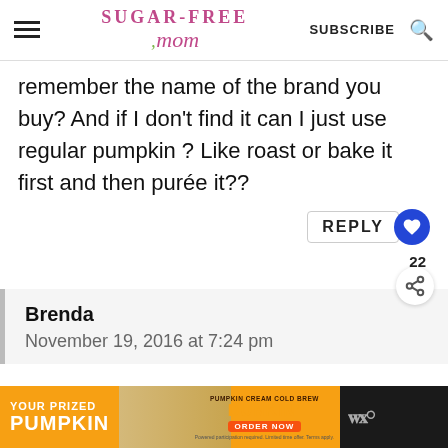Sugar-Free Mom | SUBSCRIBE
remember the name of the brand you buy? And if I don't find it can I just use regular pumpkin ? Like roast or bake it first and then purée it??
REPLY | 22
Brenda
November 19, 2016 at 7:24 pm
[Figure (other): Dunkin' Pumpkin Cream Cold Brew advertisement banner: YOUR PRIZED PUMPKIN, PUMPKIN CREAM COLD BREW, DUNKIN', ORDER NOW]